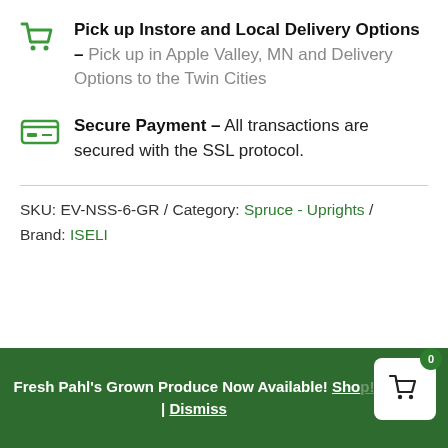Pick up Instore and Local Delivery Options – Pick up in Apple Valley, MN and Delivery Options to the Twin Cities
Secure Payment – All transactions are secured with the SSL protocol.
SKU: EV-NSS-6-GR / Category: Spruce - Uprights / Brand: ISELI
Fresh Pahl's Grown Produce Now Available! Shop! | Dismiss